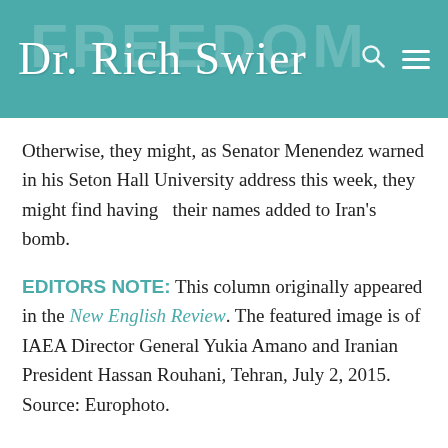Dr. Rich Swier
Otherwise, they might, as Senator Menendez warned in his Seton Hall University address this week, they might find having   their names added to Iran's bomb.
EDITORS NOTE: This column originally appeared in the New English Review. The featured image is of IAEA Director General Yukia Amano and Iranian President Hassan Rouhani, Tehran, July 2, 2015. Source: Europhoto.